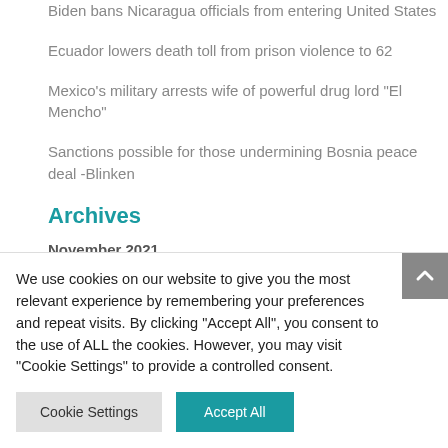Biden bans Nicaragua officials from entering United States
Ecuador lowers death toll from prison violence to 62
Mexico's military arrests wife of powerful drug lord "El Mencho"
Sanctions possible for those undermining Bosnia peace deal -Blinken
Archives
November 2021
We use cookies on our website to give you the most relevant experience by remembering your preferences and repeat visits. By clicking "Accept All", you consent to the use of ALL the cookies. However, you may visit "Cookie Settings" to provide a controlled consent.